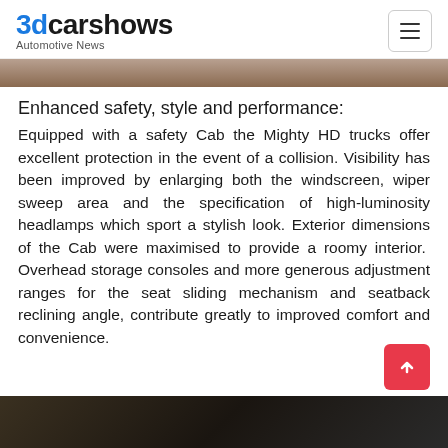3dcarshows Automotive News
[Figure (photo): Partial view of a vehicle interior/exterior photo strip at top]
Enhanced safety, style and performance:
Equipped with a safety Cab the Mighty HD trucks offer excellent protection in the event of a collision. Visibility has been improved by enlarging both the windscreen, wiper sweep area and the specification of high-luminosity headlamps which sport a stylish look. Exterior dimensions of the Cab were maximised to provide a roomy interior. Overhead storage consoles and more generous adjustment ranges for the seat sliding mechanism and seatback reclining angle, contribute greatly to improved comfort and convenience.
[Figure (photo): Partial view of vehicle interior photo strip at bottom]